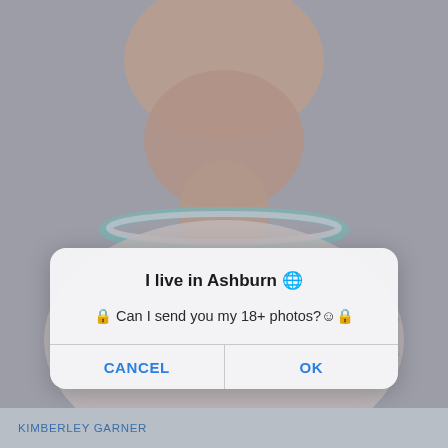[Figure (photo): Background photo of a woman wearing a white beaded/embroidered dress and a turquoise and silver statement necklace, photographed from neck/chest area. Image is partially dimmed by an overlay.]
I live in Ashburn 🌐
🔒 Can I send you my 18+ photos?☺️🔒
CANCEL
OK
KIMBERLEY GARNER